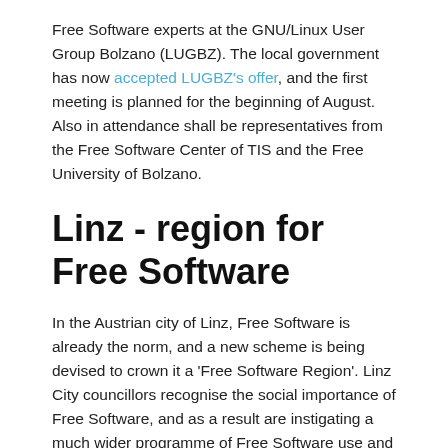Free Software experts at the GNU/Linux User Group Bolzano (LUGBZ). The local government has now accepted LUGBZ's offer, and the first meeting is planned for the beginning of August. Also in attendance shall be representatives from the Free Software Center of TIS and the Free University of Bolzano.
Linz - region for Free Software
In the Austrian city of Linz, Free Software is already the norm, and a new scheme is being devised to crown it a 'Free Software Region'. Linz City councillors recognise the social importance of Free Software, and as a result are instigating a much wider programme of Free Software use and promotion. Government officials have identified 7 key characteristics (German) that an area should fulfil in order to merit the title of Free Software Region. Amongst them: general public sector support for Free Software, regular Free Software events together with local